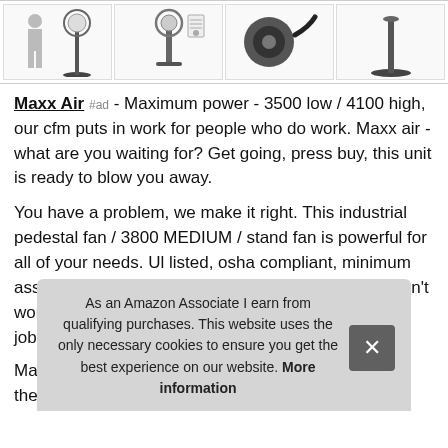[Figure (photo): Four product thumbnail images of an industrial pedestal fan showing the fan from different angles and with accessories]
Maxx Air #ad - Maximum power - 3500 low / 4100 high, our cfm puts in work for people who do work. Maxx air - what are you waiting for? Get going, press buy, this unit is ready to blow you away.
You have a problem, we make it right. This industrial pedestal fan / 3800 MEDIUM / stand fan is powerful for all of your needs. Ul listed, osha compliant, minimum assembly required. Don't know what that means? Don't worry - it just means this motor doesn't quit when the job gets tough.
Max... ther...
As an Amazon Associate I earn from qualifying purchases. This website uses the only necessary cookies to ensure you get the best experience on our website. More information